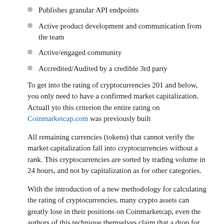Publishes granular API endpoints
Active product development and communication from the team
Active/engaged community
Accredited/Audited by a credible 3rd party
To get into the rating of cryptocurrencies 201 and below, you only need to have a confirmed market capitalization. Actuall yto this criterion the entire rating on Coinmarketcap.com was previously built
All remaining currencies (tokens) that cannot verify the market capitalization fall into cryptocurrencies without a rank. This cryptocurrencies are sorted by trading volume in 24 hours, and not by capitalization as for other categories.
With the introduction of a new methodology for calculating the rating of cryptocurrencies, many crypto assets can greatly lose in their positions on Coinmarketcap, even the authors of this technique themselves claim that a drop for some cryptocurrencies may amount to 1000 points or more. You can read more about the